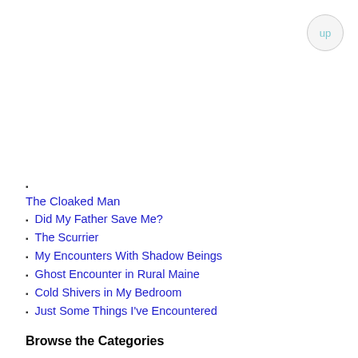[Figure (other): Circular 'up' navigation button in top-right corner with light border and cyan 'up' text]
▪ (bullet only, no text)
The Cloaked Man
Did My Father Save Me?
The Scurrier
My Encounters With Shadow Beings
Ghost Encounter in Rural Maine
Cold Shivers in My Bedroom
Just Some Things I've Encountered
Browse the Categories